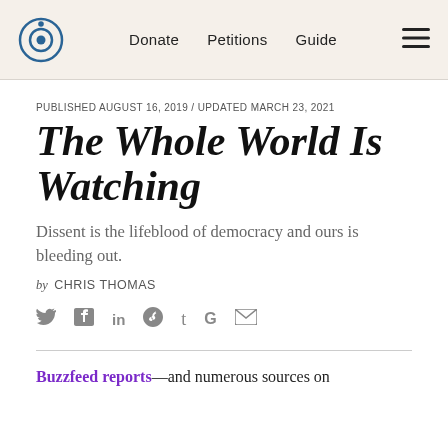Donate Petitions Guide
PUBLISHED AUGUST 16, 2019 / UPDATED MARCH 23, 2021
The Whole World Is Watching
Dissent is the lifeblood of democracy and ours is bleeding out.
by CHRIS THOMAS
Buzzfeed reports—and numerous sources on